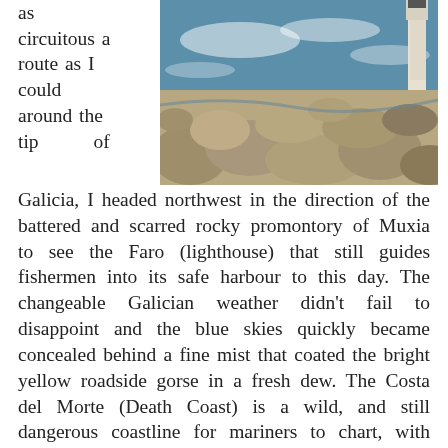as circuitous a route as I could around the tip of
[Figure (photo): Rocky coastal landscape with large granite boulders in the foreground and the ocean with waves in the background. A lighthouse tower is partially visible on the right side.]
Galicia, I headed northwest in the direction of the battered and scarred rocky promontory of Muxia to see the Faro (lighthouse) that still guides fishermen into its safe harbour to this day. The changeable Galician weather didn't fail to disappoint and the blue skies quickly became concealed behind a fine mist that coated the bright yellow roadside gorse in a fresh dew. The Costa del Morte (Death Coast) is a wild, and still dangerous coastline for mariners to chart, with charming white sand beaches framed by high cliffs. It is a diverse landscape of mountains, shaded valleys, wildflower meadows and little villages dotted with old hórreos (stone granaries) and weather-worn